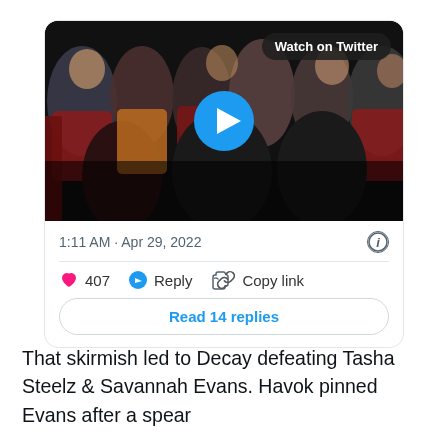[Figure (screenshot): Twitter/X embedded tweet card showing a video thumbnail of a concert crowd with a blue play button overlay and a 'Watch on Twitter' badge. Below the video: timestamp '1:11 AM · Apr 29, 2022', an info icon, a divider, action bar with heart/407/Reply/Copy link, and a 'Read 14 replies' button.]
That skirmish led to Decay defeating Tasha Steelz & Savannah Evans. Havok pinned Evans after a spear